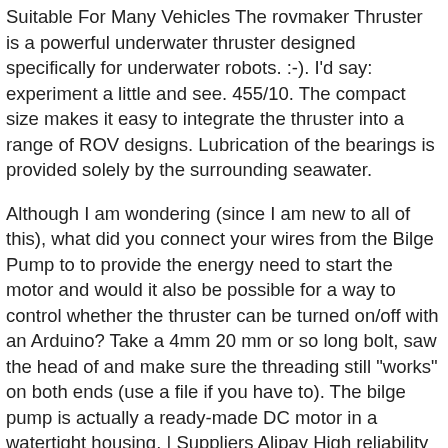Suitable For Many Vehicles The rovmaker Thruster is a powerful underwater thruster designed specifically for underwater robots. :-). I'd say: experiment a little and see. 455/10. The compact size makes it easy to integrate the thruster into a range of ROV designs. Lubrication of the bearings is provided solely by the surrounding seawater.
Although I am wondering (since I am new to all of this), what did you connect your wires from the Bilge Pump to to provide the energy need to start the motor and would it also be possible for a way to control whether the thruster can be turned on/off with an Arduino? Take a 4mm 20 mm or so long bolt, saw the head of and make sure the threading still "works" on both ends (use a file if you have to). The bilge pump is actually a ready-made DC motor in a watertight housing. | Suppliers Alipay High reliability is crucial for this type of application. The increasing utilization and exploration of the oceans cause sound pollution. For sure, this is one of rule's biggest pumps too costing $75AU at a local retailer. Performance and durability of our thrusters certified through in-